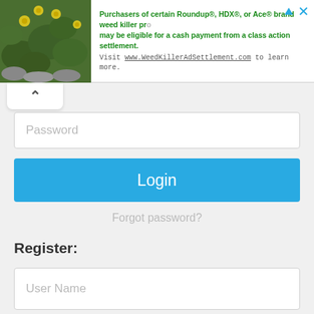[Figure (screenshot): Advertisement banner with plant/flower image on left and green text about Roundup weed killer class action settlement, with link to WeedKillerAdSettlement.com]
Password
Login
Forgot password?
Register:
User Name
Password
Confirm Password